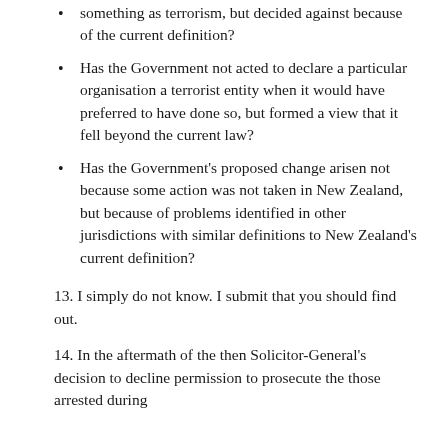something as terrorism, but decided against because of the current definition?
Has the Government not acted to declare a particular organisation a terrorist entity when it would have preferred to have done so, but formed a view that it fell beyond the current law?
Has the Government's proposed change arisen not because some action was not taken in New Zealand, but because of problems identified in other jurisdictions with similar definitions to New Zealand's current definition?
13. I simply do not know. I submit that you should find out.
14. In the aftermath of the then Solicitor-General's decision to decline permission to prosecute the those arrested during